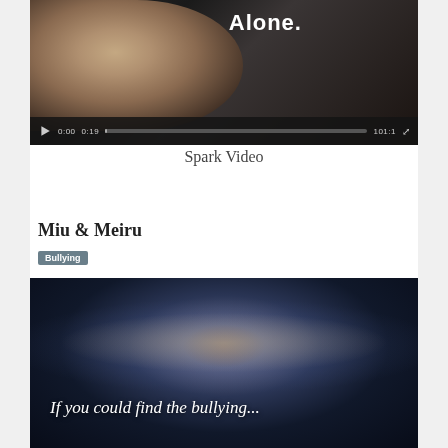[Figure (screenshot): Video thumbnail showing a child's face against dark background with text 'Alone.' and video player controls at bottom]
Spark Video
Miu & Meiru
Bullying
[Figure (screenshot): Video thumbnail showing galaxy/space background with overlaid italic text 'If you could find the bullying...']